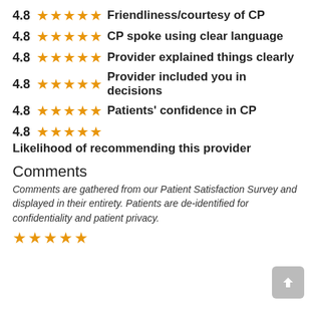4.8 ★★★★★ Friendliness/courtesy of CP
4.8 ★★★★★ CP spoke using clear language
4.8 ★★★★★ Provider explained things clearly
4.8 ★★★★★ Provider included you in decisions
4.8 ★★★★★ Patients' confidence in CP
4.8 ★★★★★ Likelihood of recommending this provider
Comments
Comments are gathered from our Patient Satisfaction Survey and displayed in their entirety. Patients are de-identified for confidentiality and patient privacy.
[Figure (other): Five gold stars at bottom of page]